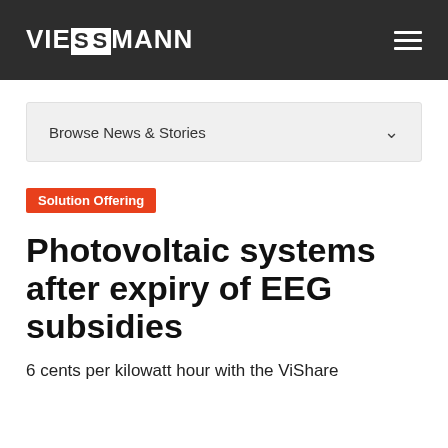VIESSMANN
Browse News & Stories
Solution Offering
Photovoltaic systems after expiry of EEG subsidies
6 cents per kilowatt hour with the ViShare